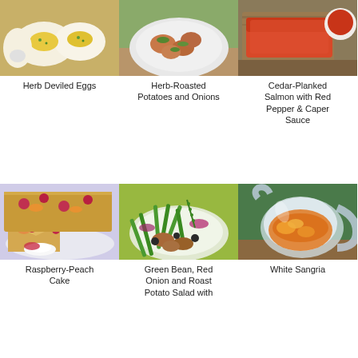[Figure (photo): Herb Deviled Eggs - deviled eggs with yellow filling and green herbs on a cutting board]
[Figure (photo): Herb-Roasted Potatoes and Onions - roasted red potatoes with herbs on a white plate]
[Figure (photo): Cedar-Planked Salmon with Red Pepper & Caper Sauce - salmon fillet with red sauce in a white bowl]
Herb Deviled Eggs
Herb-Roasted Potatoes and Onions
Cedar-Planked Salmon with Red Pepper & Caper Sauce
[Figure (photo): Raspberry-Peach Cake - golden cake with raspberries and peaches, slice on plate with whipped cream]
[Figure (photo): Green Bean, Red Onion and Roast Potato Salad with - green beans, sausage slices, olives and red onion on green background]
[Figure (photo): White Sangria - glass pitcher filled with orange and citrus sangria]
Raspberry-Peach Cake
Green Bean, Red Onion and Roast Potato Salad with
White Sangria